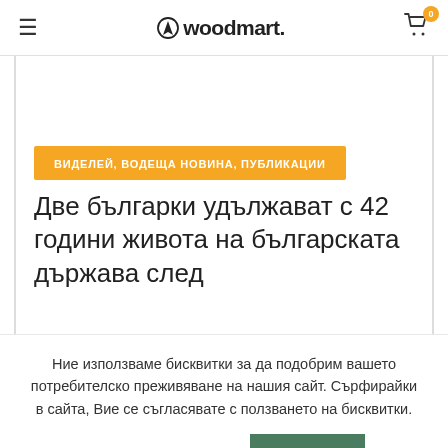woodmart. (logo with navigation)
ВИДЕЛЕЙ, ВОДЕЩА НОВИНА, ПУБЛИКАЦИИ
Две българки удължават с 42 години живота на българската държава след
Ние използваме бисквитки за да подобрим вашето потребителско преживяване на нашия сайт. Сърфирайки в сайта, Вие се съгласявате с ползването на бисквитки.
ПОВЕЧЕ ИНФОРМАЦИЯ
ПРИЕМАМ